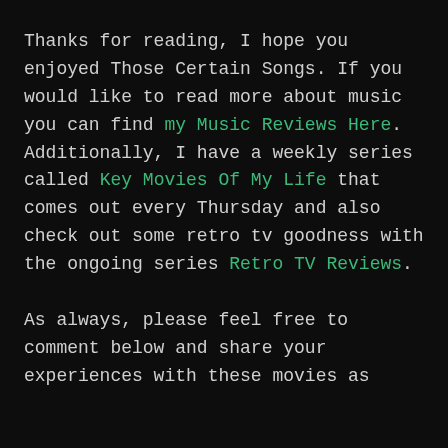Thanks for reading, I hope you enjoyed Those Certain Songs. If you would like to read more about music you can find my Music Reviews Here. Additionally, I have a weekly series called Key Movies Of My Life that comes out every Thursday and also check out some retro tv goodness with the ongoing series Retro TV Reviews.
As always, please feel free to comment below and share your experiences with these movies as